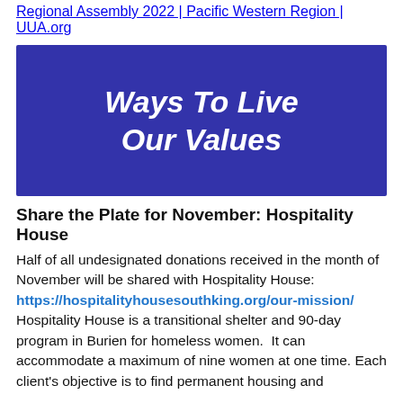Regional Assembly 2022 | Pacific Western Region | UUA.org
[Figure (illustration): Dark blue banner with white bold italic text reading 'Ways To Live Our Values']
Share the Plate for November: Hospitality House
Half of all undesignated donations received in the month of November will be shared with Hospitality House: https://hospitalityhousesouthking.org/our-mission/ Hospitality House is a transitional shelter and 90-day program in Burien for homeless women. It can accommodate a maximum of nine women at one time. Each client's objective is to find permanent housing and